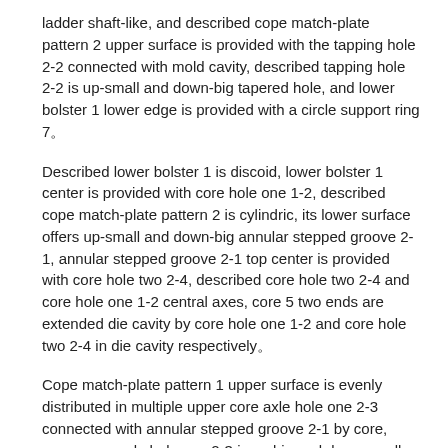ladder shaft-like, and described cope match-plate pattern 2 upper surface is provided with the tapping hole 2-2 connected with mold cavity, described tapping hole 2-2 is up-small and down-big tapered hole, and lower bolster 1 lower edge is provided with a circle support ring 7。
Described lower bolster 1 is discoid, lower bolster 1 center is provided with core hole one 1-2, described cope match-plate pattern 2 is cylindric, its lower surface offers up-small and down-big annular stepped groove 2-1, annular stepped groove 2-1 top center is provided with core hole two 2-4, described core hole two 2-4 and core hole one 1-2 central axes, core 5 two ends are extended die cavity by core hole one 1-2 and core hole two 2-4 in die cavity respectively。
Cope match-plate pattern 1 upper surface is evenly distributed in multiple upper core axle hole one 2-3 connected with annular stepped groove 2-1 by core, upper core axle hole one 2-3 is up big and down small shoulder hole, lower bolster 1 lower surface is provided with and multiple descends core axle hole two 1-3 one to one with upper core axle hole one 2-3, being provided with the ladder